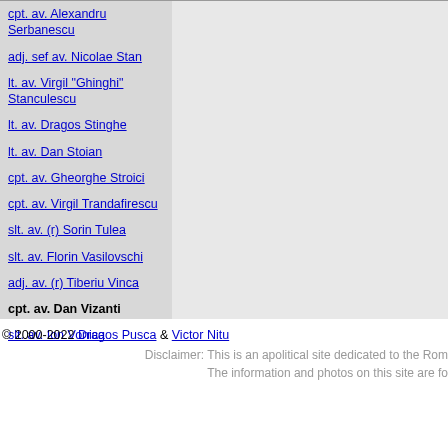cpt. av. Alexandru Serbanescu
adj. sef av. Nicolae Stan
lt. av. Virgil "Ghinghi" Stanculescu
lt. av. Dragos Stinghe
lt. av. Dan Stoian
cpt. av. Gheorghe Stroici
cpt. av. Virgil Trandafirescu
slt. av. (r) Sorin Tulea
slt. av. Florin Vasilovschi
adj. av. (r) Tiberiu Vinca
cpt. av. Dan Vizanti
slt. av. Ion Vonica
© 2000-2022 Dragos Pusca & Victor Nitu
Disclaimer: This is an apolitical site dedicated to the Rom... The information and photos on this site are fo...